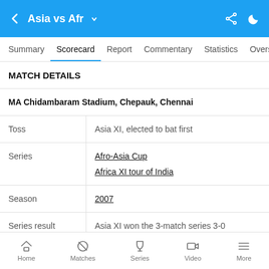Asia vs Afr
MATCH DETAILS
| MA Chidambaram Stadium, Chepauk, Chennai |  |
| Toss | Asia XI, elected to bat first |
| Series | Afro-Asia Cup
Africa XI tour of India |
| Season | 2007 |
| Series result | Asia XI won the 3-match series 3-0 |
Home  Matches  Series  Video  More